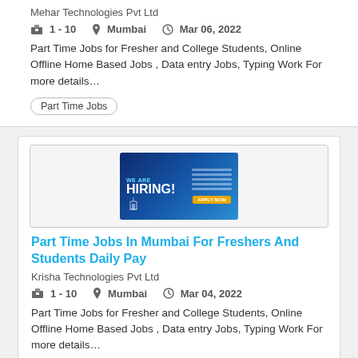Mehar Technologies Pvt Ltd
1 - 10  Mumbai  Mar 06, 2022
Part Time Jobs for Fresher and College Students, Online Offline Home Based Jobs , Data entry Jobs, Typing Work For more details…
Part Time Jobs
[Figure (photo): Hiring advertisement banner with blue gradient background showing 'WE ARE HIRING!' text and open positions list]
Part Time Jobs In Mumbai For Freshers And Students Daily Pay
Krisha Technologies Pvt Ltd
1 - 10  Mumbai  Mar 04, 2022
Part Time Jobs for Fresher and College Students, Online Offline Home Based Jobs , Data entry Jobs, Typing Work For more details…
Part Time Jobs